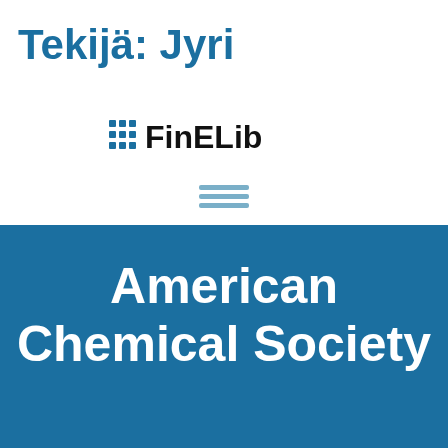Tekijä: Jyri
[Figure (logo): FinELib logo with dotted grid icon and text 'FinELib']
[Figure (other): Hamburger menu icon (three horizontal lines)]
American Chemical Society